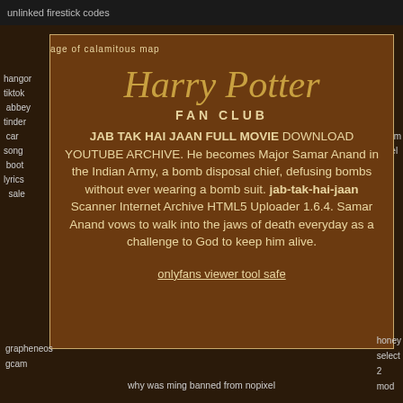unlinked firestick codes
age of calamitous map
[Figure (illustration): Harry Potter Fan Club logo with stylized text]
JAB TAK HAI JAAN FULL MOVIE DOWNLOAD YOUTUBE ARCHIVE. He becomes Major Samar Anand in the Indian Army, a bomb disposal chief, defusing bombs without ever wearing a bomb suit. jab-tak-hai-jaan Scanner Internet Archive HTML5 Uploader 1.6.4. Samar Anand vows to walk into the jaws of death everyday as a challenge to God to keep him alive.
onlyfans viewer tool safe
hangor
tiktok
abbey
tinder
car
song
boot
lyrics
sale
deep
noell
web
pape
telegram
channel
reddit
grapheneos
gcam
why was ming banned from nopixel
honey
select
2
mod